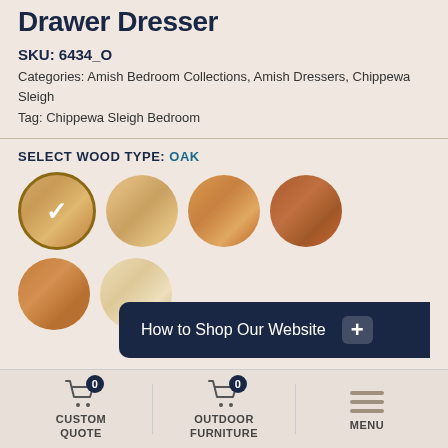Drawer Dresser
SKU: 6434_O
Categories: Amish Bedroom Collections, Amish Dressers, Chippewa Sleigh
Tag: Chippewa Sleigh Bedroom
SELECT WOOD TYPE: OAK
[Figure (other): Six circular wood swatch samples showing different wood types. First circle (Oak) is selected with a white checkmark. Circles show varying wood grain colors from light ash to medium brown cherry.]
OAK STAIN
View Larger Images >
How to Shop Our Website +
CUSTOM QUOTE   OUTDOOR FURNITURE   MENU